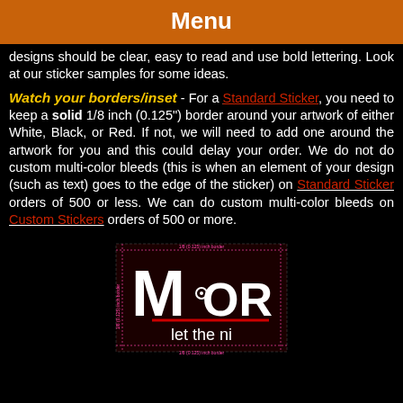Menu
designs should be clear, easy to read and use bold lettering. Look at our sticker samples for some ideas.
Watch your borders/inset - For a Standard Sticker, you need to keep a solid 1/8 inch (0.125") border around your artwork of either White, Black, or Red. If not, we will need to add one around the artwork for you and this could delay your order. We do not do custom multi-color bleeds (this is when an element of your design (such as text) goes to the edge of the sticker) on Standard Sticker orders of 500 or less. We can do custom multi-color bleeds on Custom Stickers orders of 500 or more.
[Figure (illustration): Sample sticker showing MOR logo with 'let the ni' text and border guide markings indicating 1/8 (0.125) inch border areas]